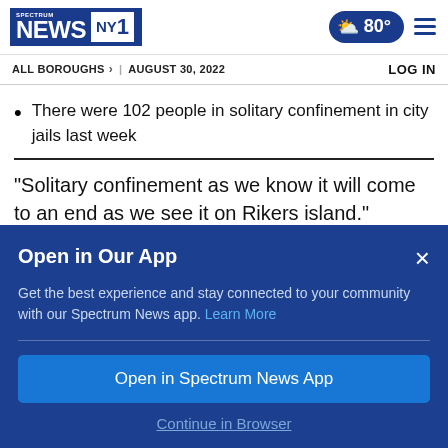[Figure (logo): Spectrum News NY1 logo with blue background]
ALL BOROUGHS > | AUGUST 30, 2022    LOG IN
There were 102 people in solitary confinement in city jails last week
“Solitary confinement as we know it will come to an end as we see it on Rikers island.” Queens
Open in Our App
Get the best experience and stay connected to your community with our Spectrum News app. Learn More
Open in Spectrum News App
Continue in Browser